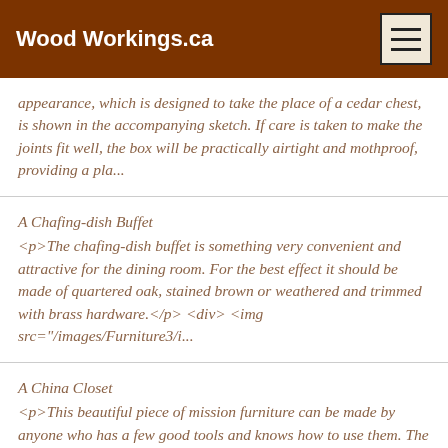Wood Workings.ca
appearance, which is designed to take the place of a cedar chest, is shown in the accompanying sketch. If care is taken to make the joints fit well, the box will be practically airtight and mothproof, providing a pla...
A Chafing-dish Buffet
<p>The chafing-dish buffet is something very convenient and attractive for the dining room. For the best effect it should be made of quartered oak, stained brown or weathered and trimmed with brass hardware.</p> <div> <img src="/images/Furniture3/i...
A China Closet
<p>This beautiful piece of mission furniture can be made by anyone who has a few good tools and knows how to use them. The cost is